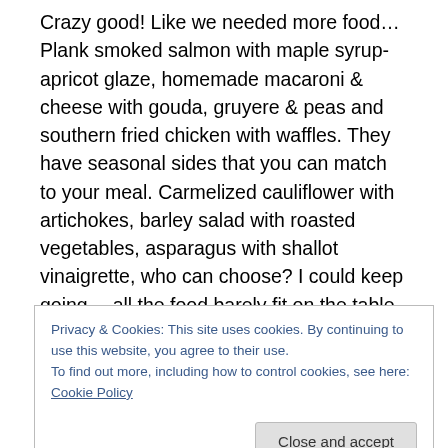Crazy good! Like we needed more food… Plank smoked salmon with maple syrup-apricot glaze, homemade macaroni & cheese with gouda, gruyere & peas and southern fried chicken with waffles. They have seasonal sides that you can match to your meal. Carmelized cauliflower with artichokes, barley salad with roasted vegetables, asparagus with shallot vinaigrette, who can choose? I could keep going… all the food barely fit on the table. Kind of embarrassing, but oh so good! And as if we weren't full enough, mile high carrot cake, warm homemade cookies, seasonal cobbler with cranberries
Privacy & Cookies: This site uses cookies. By continuing to use this website, you agree to their use.
To find out more, including how to control cookies, see here: Cookie Policy
impressive Green mission and see their menu. I hear they